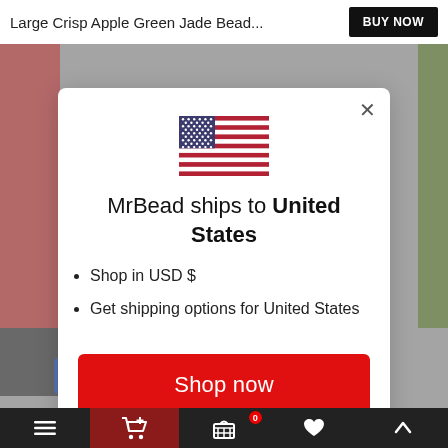Large Crisp Apple Green Jade Bead... BUY NOW
[Figure (screenshot): US flag SVG centered in modal]
MrBead ships to United States
Shop in USD $
Get shipping options for United States
Shop now
Change shipping country
Bottom navigation bar with menu, cart, basket (0), heart, and up-arrow icons